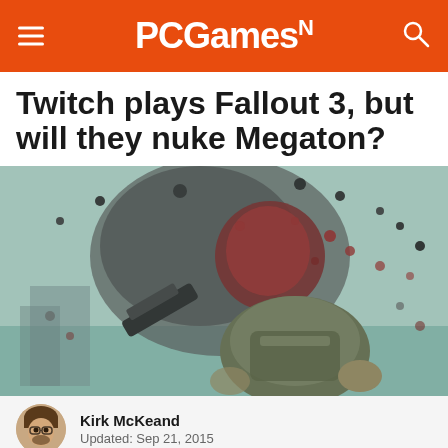PCGamesN
Twitch plays Fallout 3, but will they nuke Megaton?
[Figure (photo): Screenshot from Fallout 3 showing a character being hit, with blood and debris explosions, set in a post-apocalyptic wasteland background]
Kirk McKeand
Updated: Sep 21, 2015